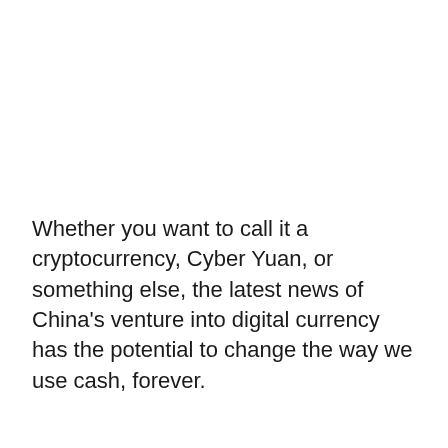Whether you want to call it a cryptocurrency, Cyber Yuan, or something else, the latest news of China's venture into digital currency has the potential to change the way we use cash, forever.